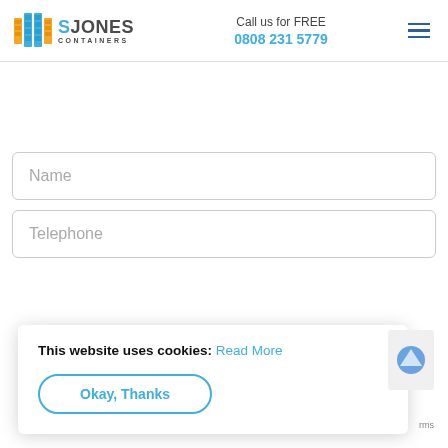[Figure (logo): S Jones Containers logo with icon and text, showing a stylized container icon in blue and orange, with 'SJONES' in bold and 'CONTAINERS' below]
Call us for FREE
0808 231 5779
Name
Telephone
This website uses cookies: Read More
Okay, Thanks